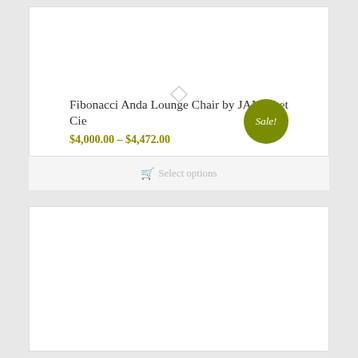Fibonacci Anda Lounge Chair by JANUS et Cie
$4,000.00 – $4,472.00
Sale!
Select options